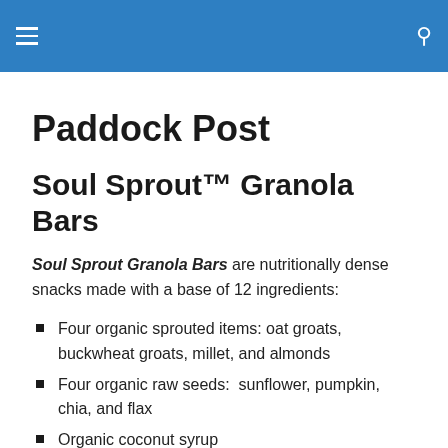Paddock Post — navigation header bar
Paddock Post
Soul Sprout™ Granola Bars
Soul Sprout Granola Bars are nutritionally dense snacks made with a base of 12 ingredients:
Four organic sprouted items: oat groats, buckwheat groats, millet, and almonds
Four organic raw seeds:  sunflower, pumpkin, chia, and flax
Organic coconut syrup
Organic cinnamon